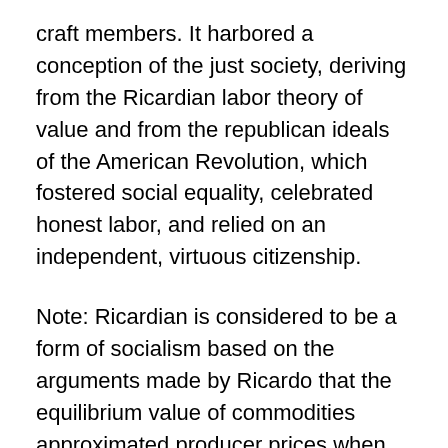craft members. It harbored a conception of the just society, deriving from the Ricardian labor theory of value and from the republican ideals of the American Revolution, which fostered social equality, celebrated honest labor, and relied on an independent, virtuous citizenship.
Note: Ricardian is considered to be a form of socialism based on the arguments made by Ricardo that the equilibrium value of commodities approximated producer prices when those commodities were in elastic supply, that these producer prices corresponded to the embodied labor and that profit, interest and rent were deductions from this exchange-value. This is deduced from the axiom of